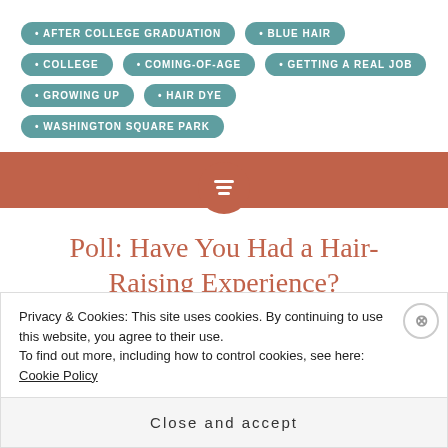• AFTER COLLEGE GRADUATION
• BLUE HAIR
• COLLEGE
• COMING-OF-AGE
• GETTING A REAL JOB
• GROWING UP
• HAIR DYE
• WASHINGTON SQUARE PARK
[Figure (other): Decorative section divider with rust-colored horizontal bar and centered circle icon containing alignment/text icon]
Poll: Have You Had a Hair-Raising Experience?
APRIL 5, 2014
Privacy & Cookies: This site uses cookies. By continuing to use this website, you agree to their use.
To find out more, including how to control cookies, see here: Cookie Policy
Close and accept